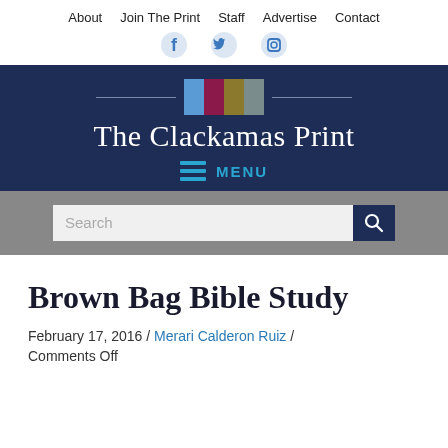About  Join The Print  Staff  Advertise  Contact
[Figure (logo): Social media icons: Facebook, Twitter, Instagram in blue]
[Figure (logo): The Clackamas Print banner logo with colored bars and MENU navigation]
[Figure (screenshot): Search bar with dark blue search button]
Brown Bag Bible Study
February 17, 2016 / Merari Calderon Ruiz / Comments Off